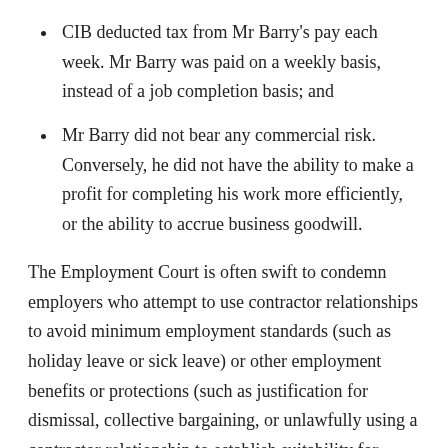CIB deducted tax from Mr Barry's pay each week. Mr Barry was paid on a weekly basis, instead of a job completion basis; and
Mr Barry did not bear any commercial risk. Conversely, he did not have the ability to make a profit for completing his work more efficiently, or the ability to accrue business goodwill.
The Employment Court is often swift to condemn employers who attempt to use contractor relationships to avoid minimum employment standards (such as holiday leave or sick leave) or other employment benefits or protections (such as justification for dismissal, collective bargaining, or unlawfully using a contractor relationship to establish suitability for employment).  This is for good reason as employees have access to a range of